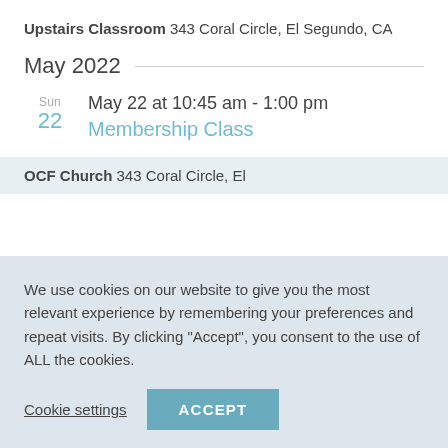Upstairs Classroom 343 Coral Circle, El Segundo, CA
May 2022
Sun 22 May 22 at 10:45 am - 1:00 pm
Membership Class
OCF Church 343 Coral Circle, El
We use cookies on our website to give you the most relevant experience by remembering your preferences and repeat visits. By clicking “Accept”, you consent to the use of ALL the cookies.
Cookie settings   ACCEPT